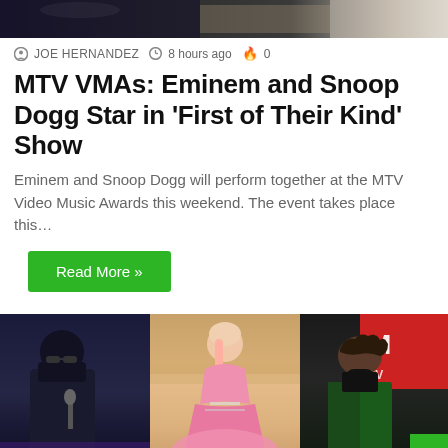[Figure (photo): Top portion of a photo showing performers, partially cropped]
JOE HERNANDEZ  8 hours ago  0
MTV VMAs: Eminem and Snoop Dogg Star in 'First of Their Kind' Show
Eminem and Snoop Dogg will perform together at the MTV Video Music Awards this weekend. The event takes place this…
Read More »
[Figure (photo): Three-panel photo collage: left panel shows a person with sunglasses performing with microphone on dark stage; center panel shows a woman in pink ballgown with blonde hair; right panel shows a man in green jacket against MTV red backdrop]